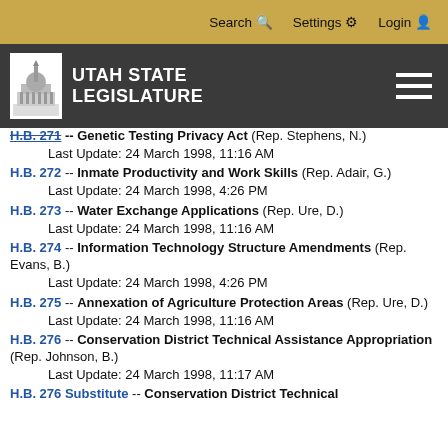Utah State Legislature — Search, Settings, Login navigation bar
[Figure (logo): Utah State Legislature logo with capitol building icon and text UTAH STATE LEGISLATURE on dark background]
H.B. 271 -- Genetic Testing Privacy Act (Rep. Stephens, N.) Last Update: 24 March 1998, 11:16 AM
H.B. 272 -- Inmate Productivity and Work Skills (Rep. Adair, G.) Last Update: 24 March 1998, 4:26 PM
H.B. 273 -- Water Exchange Applications (Rep. Ure, D.) Last Update: 24 March 1998, 11:16 AM
H.B. 274 -- Information Technology Structure Amendments (Rep. Evans, B.) Last Update: 24 March 1998, 4:26 PM
H.B. 275 -- Annexation of Agriculture Protection Areas (Rep. Ure, D.) Last Update: 24 March 1998, 11:16 AM
H.B. 276 -- Conservation District Technical Assistance Appropriation (Rep. Johnson, B.) Last Update: 24 March 1998, 11:17 AM
H.B. 276 Substitute -- Conservation District Technical (truncated)